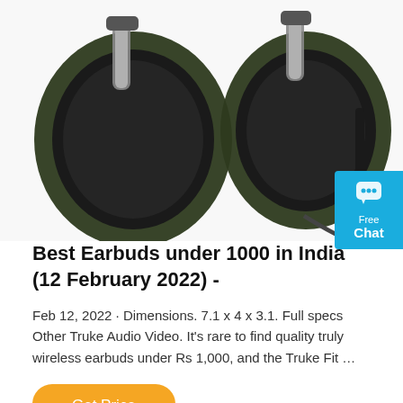[Figure (photo): Two camouflage-patterned over-ear gaming headphones/headsets shown side by side from below, with black ear cushions and silver/grey metal accents. The right one has a microphone arm visible.]
Best Earbuds under 1000 in India (12 February 2022) -
Feb 12, 2022 · Dimensions. 7.1 x 4 x 3.1. Full specs Other Truke Audio Video. It's rare to find quality truly wireless earbuds under Rs 1,000, and the Truke Fit …